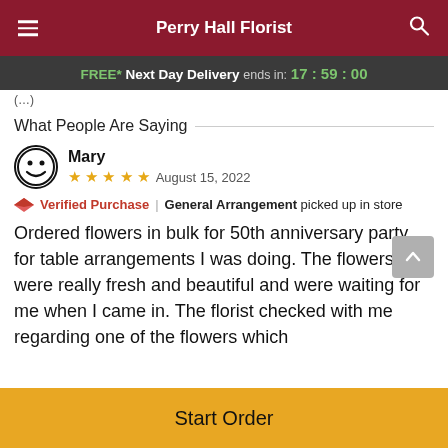Perry Hall Florist
FREE* Next Day Delivery ends in: 17:59:00
What People Are Saying
Mary
★★★★★ August 15, 2022
Verified Purchase | General Arrangement picked up in store
Ordered flowers in bulk for 50th anniversary party for table arrangements I was doing. The flowers were really fresh and beautiful and were waiting for me when I came in. The florist checked with me regarding one of the flowers which
Start Order